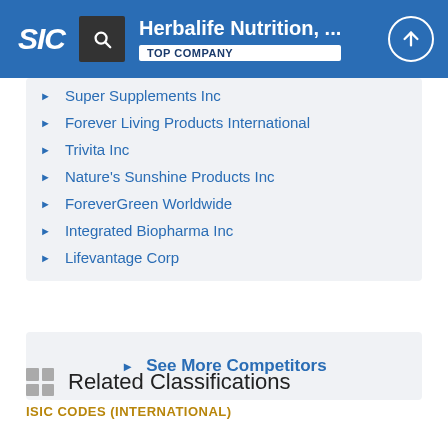Herbalife Nutrition, ... TOP COMPANY
Super Supplements Inc
Forever Living Products International
Trivita Inc
Nature's Sunshine Products Inc
ForeverGreen Worldwide
Integrated Biopharma Inc
Lifevantage Corp
See More Competitors
Related Classifications
ISIC CODES (INTERNATIONAL)